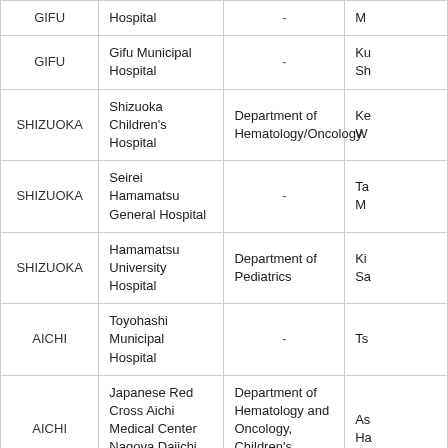| Prefecture | Hospital | Department | Contact (truncated) |
| --- | --- | --- | --- |
| GIFU | Hospital (truncated) | - | M… |
| GIFU | Gifu Municipal Hospital | - | Ku… Sh… |
| SHIZUOKA | Shizuoka Children's Hospital | Department of Hematology/Oncology | Ke… W… |
| SHIZUOKA | Seirei Hamamatsu General Hospital | - | Ta… M… |
| SHIZUOKA | Hamamatsu University Hospital | Department of Pediatrics | Ki… Sa… |
| AICHI | Toyohashi Municipal Hospital | - | Ts… |
| AICHI | Japanese Red Cross Aichi Medical Center Nagoya Daiichi Hospital | Department of Hematology and Oncology, Children's Medical Center | As… Ha… |
| AICHI | Anjo Kosei Hospital | - | Yu… |
| AICHI | Nagoya City University Hospital | - | M… |